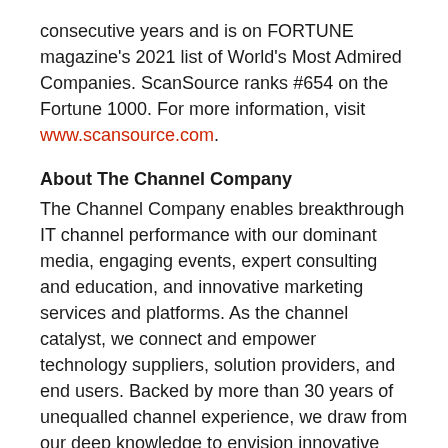consecutive years and is on FORTUNE magazine's 2021 list of World's Most Admired Companies. ScanSource ranks #654 on the Fortune 1000. For more information, visit www.scansource.com.
About The Channel Company
The Channel Company enables breakthrough IT channel performance with our dominant media, engaging events, expert consulting and education, and innovative marketing services and platforms. As the channel catalyst, we connect and empower technology suppliers, solution providers, and end users. Backed by more than 30 years of unequalled channel experience, we draw from our deep knowledge to envision innovative new solutions for ever-evolving challenges in the technology marketplace. www.thechannelcompany.com. Follow The Channel Company: Twitter, LinkedIn, and Facebook.